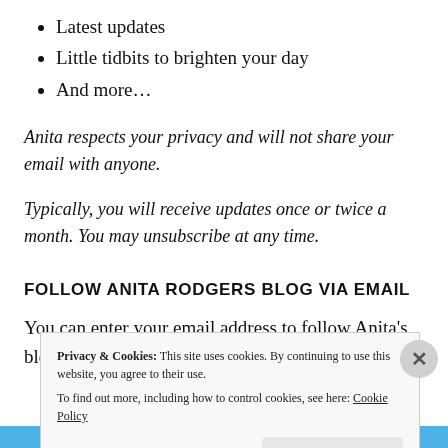Latest updates
Little tidbits to brighten your day
And more…
Anita respects your privacy and will not share your email with anyone.
Typically, you will receive updates once or twice a month. You may unsubscribe at any time.
FOLLOW ANITA RODGERS BLOG VIA EMAIL
You can enter your email address to follow Anita's blog and
Privacy & Cookies: This site uses cookies. By continuing to use this website, you agree to their use.
To find out more, including how to control cookies, see here: Cookie Policy
Close and accept